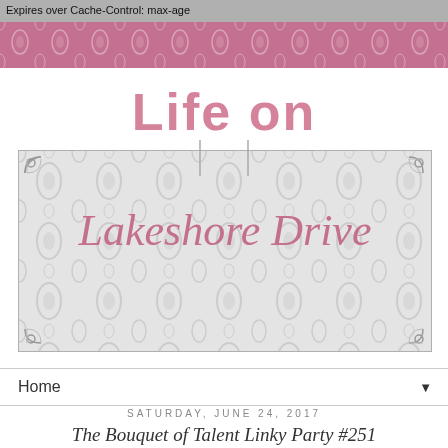Expires over Cache-Control: max-age
[Figure (logo): Life on Lakeshore Drive blog logo with pink script text on decorative grey damask box with ornamental corner pieces]
Home ▼
SATURDAY, JUNE 24, 2017
The Bouquet of Talent Linky Party #251